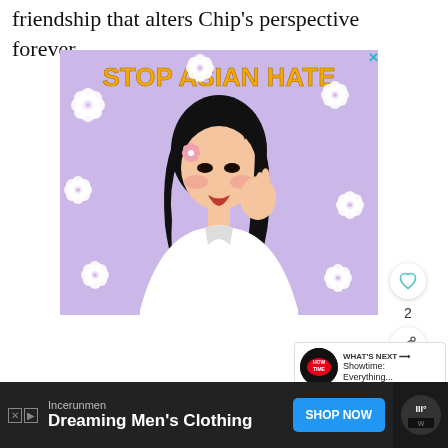friendship that alters Chip's perspective forever.
[Figure (illustration): Stop Asian Hate advertisement illustration: purple background with white cherry blossoms, animated Asian woman in white turtleneck with flower in hair.]
[Figure (infographic): What's Next panel: Howtime logo with text 'Showtime: Everything...']
[Figure (infographic): Bottom advertisement banner: Incerunmen brand, 'Dreaming Men's Clothing', Shop Now button]